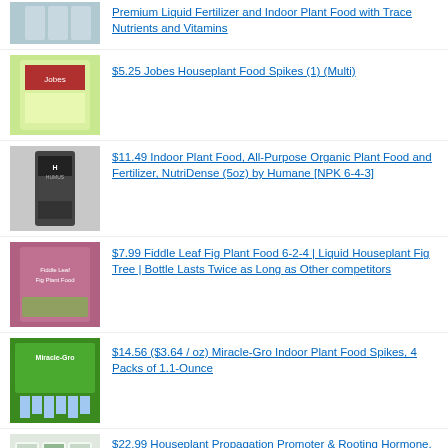Premium Liquid Fertilizer and Indoor Plant Food with Trace Nutrients and Vitamins
$5.25 Jobes Houseplant Food Spikes (1) (Multi)
$11.49 Indoor Plant Food, All-Purpose Organic Plant Food and Fertilizer, NutriDense (5oz) by Humane [NPK 6-4-3]
$7.99 Fiddle Leaf Fig Plant Food 6-2-4 | Liquid Houseplant Fig Tree | Bottle Lasts Twice as Long as Other competitors
$14.56 ($3.64 / oz) Miracle-Gro Indoor Plant Food Spikes, 4 Packs of 1.1-Ounce
$22.99 Houseplant Propagation Promoter & Rooting Hormone, Root Stimulator, Plant Starter Solution for Growing New Plants from Cuttings (Formulated for Fiddle Leaf Fig or Ficus Lyrata)
---
Use the form below to choose: